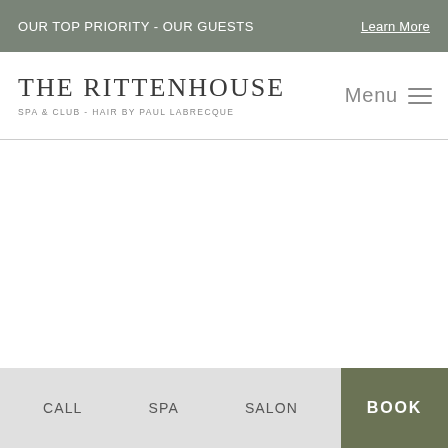OUR TOP PRIORITY - OUR GUESTS   Learn More
THE RITTENHOUSE
SPA & CLUB - HAIR BY PAUL LABRECQUE
Menu ≡
[Figure (other): Large blank white content area (main page body, likely a hero image area that did not load)]
CALL   SPA   SALON   BOOK